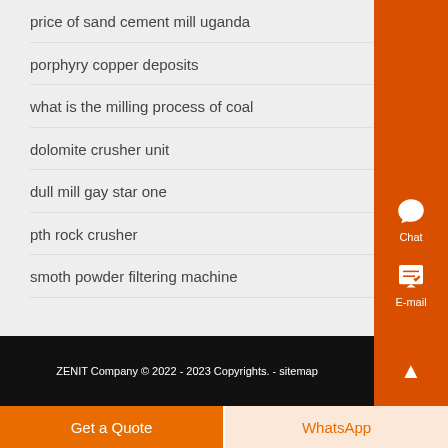price of sand cement mill uganda
porphyry copper deposits
what is the milling process of coal
dolomite crusher unit
dull mill gay star one
pth rock crusher
smoth powder filtering machine
ZENIT Company © 2022 - 2023 Copyrights. - sitemap